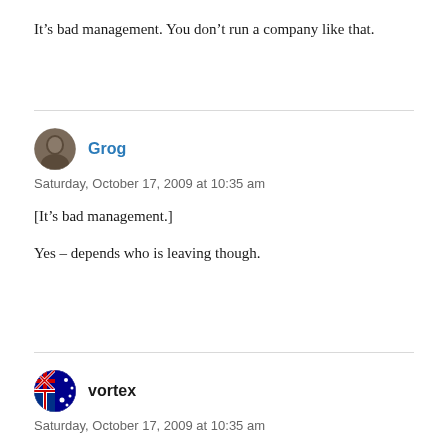It’s bad management. You don’t run a company like that.
Grog
Saturday, October 17, 2009 at 10:35 am
[It’s bad management.]
Yes – depends who is leaving though.
vortex
Saturday, October 17, 2009 at 10:35 am